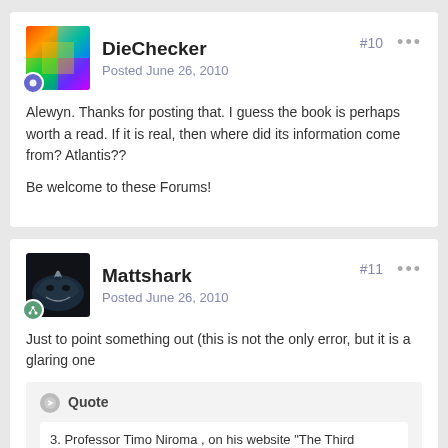[Figure (screenshot): Forum post by DieChecker with holographic avatar and badge]
DieChecker
Posted June 26, 2010
#10
Alewyn. Thanks for posting that. I guess the book is perhaps worth a read. If it is real, then where did its information come from? Atlantis??
Be welcome to these Forums!
[Figure (screenshot): Forum post by Mattshark with shark avatar and share badge]
Mattshark
Posted June 26, 2010
#11
Just to point something out (this is not the only error, but it is a glaring one
Quote
3. Professor Timo Niroma , on his website “The Third Millennium BC¬ (3100-2100 BC)” states “During the years 2200-2100 BC the